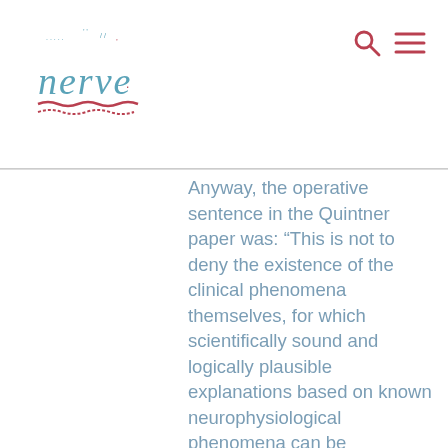nerve [logo]
Anyway, the operative sentence in the Quintner paper was: “This is not to deny the existence of the clinical phenomena themselves, for which scientifically sound and logically plausible explanations based on known neurophysiological phenomena can be advanced.” … Basically, the paper turned out to be of NO use to me at